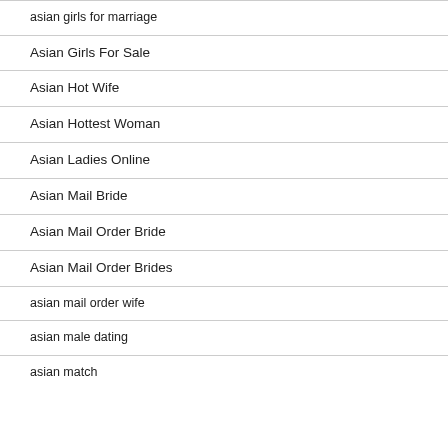asian girls for marriage
Asian Girls For Sale
Asian Hot Wife
Asian Hottest Woman
Asian Ladies Online
Asian Mail Bride
Asian Mail Order Bride
Asian Mail Order Brides
asian mail order wife
asian male dating
asian match